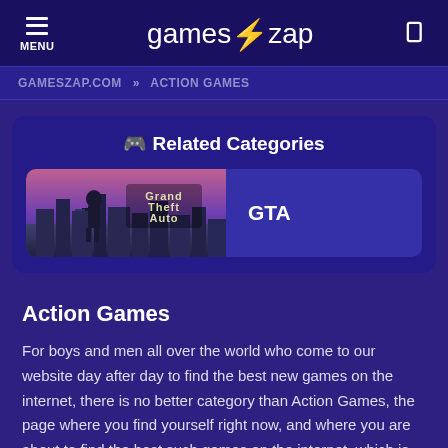MENU  games⚡zap
GAMESZAP.COM » ACTION GAMES
🎮 Related Categories
[Figure (illustration): GTA (Grand Theft Auto) game thumbnail image showing a character with a weapon against a city background with the GTA logo]
GTA
Action Games
For boys and men all over the world who come to our website day after day to find the best new games on the internet, there is no better category than Action Games, the page where you find yourself right now, and where you are about to find the best such games on the internet, which is why, if you are a big fan of